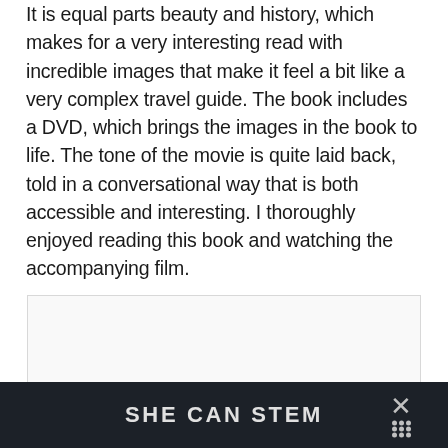It is equal parts beauty and history, which makes for a very interesting read with incredible images that make it feel a bit like a very complex travel guide. The book includes a DVD, which brings the images in the book to life. The tone of the movie is quite laid back, told in a conversational way that is both accessible and interesting. I thoroughly enjoyed reading this book and watching the accompanying film.
[Figure (other): Empty light-gray advertisement placeholder box with thin border]
[Figure (infographic): Dark banner advertisement footer reading 'SHE CAN STEM' with a close/dismiss button (X) and dots icon on the right side]